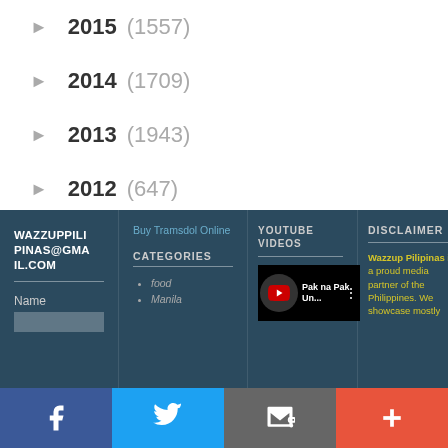► 2015 (1557)
► 2014 (1709)
► 2013 (1943)
► 2012 (647)
WAZZUPPILIPINAS@GMAIL.COM | Buy Tramsdol Online | CATEGORIES: food, Manila | YOUTUBE VIDEOS | DISCLAIMER: Wazzup Pilipinas is a proud media partner of the Philippines. We showcase mostly
Facebook | Twitter | Email | +